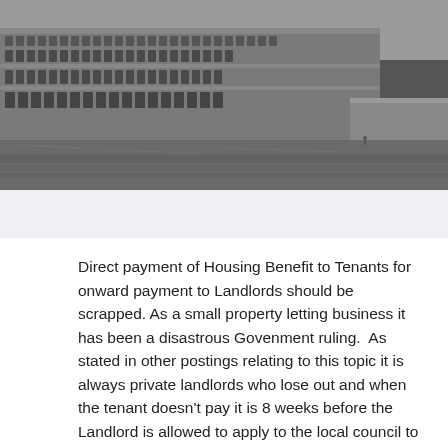[Figure (photo): Black and white photograph of the Houses of Parliament (Palace of Westminster) viewed from across the River Thames, showing the Gothic architecture and Westminster Bridge in the background.]
Direct payment of Housing Benefit to Tenants for onward payment to Landlords should be scrapped. As a small property letting business it has been a disastrous Govenment ruling.  As stated in other postings relating to this topic it is always private landlords who lose out and when the tenant doesn't pay it is 8 weeks before the Landlord is allowed to apply to the local council to have the rent paid direc to themt!  Even then the Council can elect not to pay direct to the Landlord.
Another  issue is that this ruling does not apply to